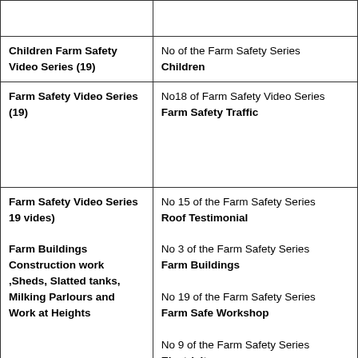| Category | Video |
| --- | --- |
|  |  |
| Children Farm Safety Video Series (19) | No of the Farm Safety Series
Children |
| Farm Safety Video Series (19) | No18 of Farm Safety Video Series
Farm Safety Traffic |
| Farm Safety Video Series 19 vides)

Farm Buildings Construction work ,Sheds, Slatted tanks, Milking Parlours and Work at Heights | No 15 of the Farm Safety Series
Roof Testimonial

No 3 of the Farm Safety Series
Farm Buildings

No 19 of the Farm Safety Series
Farm Safe Workshop

No 9 of the Farm Safety Series
Electricity |
| Legisaltion | No 10 of the Farm Safety Video Serie |